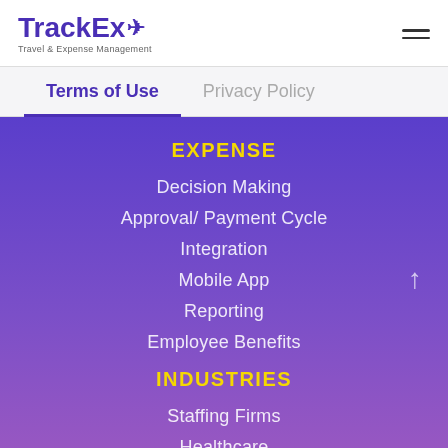[Figure (logo): TrackEx logo with airplane icon and tagline 'Travel & Expense Management']
Terms of Use
Privacy Policy
EXPENSE
Decision Making
Approval/ Payment Cycle
Integration
Mobile App
Reporting
Employee Benefits
INDUSTRIES
Staffing Firms
Healthcare
Retail